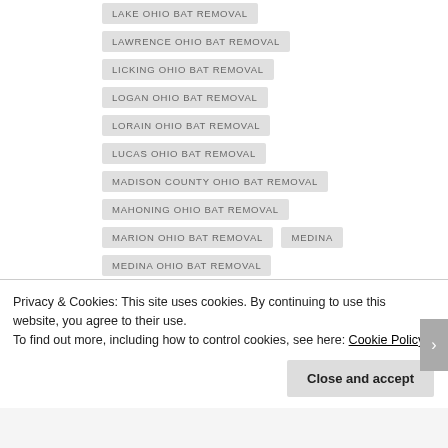LAKE OHIO BAT REMOVAL
LAWRENCE OHIO BAT REMOVAL
LICKING OHIO BAT REMOVAL
LOGAN OHIO BAT REMOVAL
LORAIN OHIO BAT REMOVAL
LUCAS OHIO BAT REMOVAL
MADISON COUNTY OHIO BAT REMOVAL
MAHONING OHIO BAT REMOVAL
MARION OHIO BAT REMOVAL
MEDINA
MEDINA OHIO BAT REMOVAL
MEIGS OHIO BAT REMOVAL
Privacy & Cookies: This site uses cookies. By continuing to use this website, you agree to their use.
To find out more, including how to control cookies, see here: Cookie Policy
Close and accept